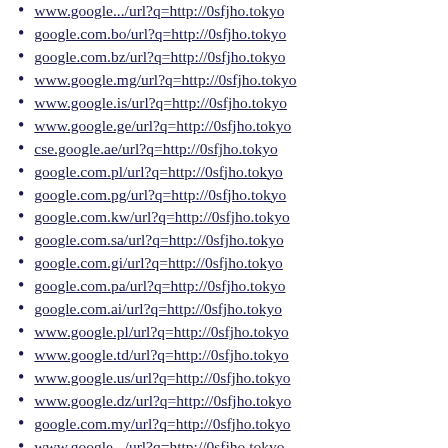www.google.../url?q=http://0sfjho.tokyo (clipped top)
google.com.bo/url?q=http://0sfjho.tokyo
google.com.bz/url?q=http://0sfjho.tokyo
www.google.mg/url?q=http://0sfjho.tokyo
www.google.is/url?q=http://0sfjho.tokyo
www.google.ge/url?q=http://0sfjho.tokyo
cse.google.ae/url?q=http://0sfjho.tokyo
google.com.pl/url?q=http://0sfjho.tokyo
google.com.pg/url?q=http://0sfjho.tokyo
google.com.kw/url?q=http://0sfjho.tokyo
google.com.sa/url?q=http://0sfjho.tokyo
google.com.gi/url?q=http://0sfjho.tokyo
google.com.pa/url?q=http://0sfjho.tokyo
google.com.ai/url?q=http://0sfjho.tokyo
www.google.pl/url?q=http://0sfjho.tokyo
www.google.td/url?q=http://0sfjho.tokyo
www.google.us/url?q=http://0sfjho.tokyo
www.google.dz/url?q=http://0sfjho.tokyo
google.com.my/url?q=http://0sfjho.tokyo
...url?q=http://0sfjho.tokyo (clipped bottom)